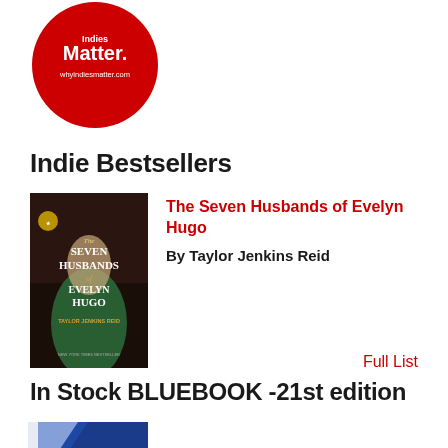[Figure (logo): Red circular logo with white text reading 'Indies Matter. whyindiesmatter.com']
Indie Bestsellers
[Figure (photo): Book cover of 'The Seven Husbands of Evelyn Hugo' by Taylor Jenkins Reid — dark background with woman in green dress]
The Seven Husbands of Evelyn Hugo
By Taylor Jenkins Reid
Full List
In Stock BLUEBOOK -21st edition
[Figure (photo): Partial view of a blue and white book cover — BLUEBOOK 21st edition]